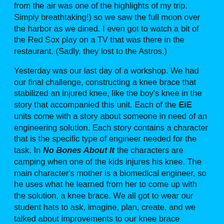from the air was one of the highlights of my trip. Simply breathtaking!) so we saw the full moon over the harbor as we dined. I even got to watch a bit of the Red Sox play on a TV that was there in the restaurant. (Sadly, they lost to the Astros.)
Yesterday was our last day of a workshop. We had our final challenge, constructing a knee brace that stabilized an injured knee, like the boy's knee in the story that accompanied this unit. Each of the EiE units come with a story about someone in need of an engineering solution. Each story contains a character that is the specific type of engineer needed for the task. In No Bones About It the characters are camping when one of the kids injures his knee. The main character's mother is a biomedical engineer, so he uses what he learned from her to come up with the solution, a knee brace. We all got to wear our student hats to ask, imagine, plan, create, and we talked about improvements to our knee brace designs. It was fun to go "shopping" for the materials for our design.